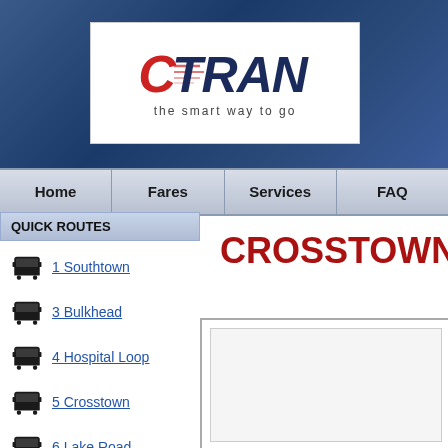[Figure (logo): C-TRAN logo with tagline 'the smart way to go' on white background, set against dark blue header]
Home | Fares | Services | FAQ
QUICK ROUTES
CROSSTOWN
1 Southtown
3 Bulkhead
4 Hospital Loop
5 Crosstown
6 Lake Road
7 Shopper Shuttle